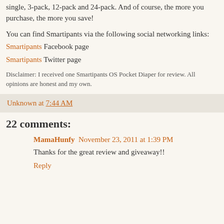single, 3-pack, 12-pack and 24-pack. And of course, the more you purchase, the more you save!
You can find Smartipants via the following social networking links:
Smartipants Facebook page
Smartipants Twitter page
Disclaimer: I received one Smartipants OS Pocket Diaper for review. All opinions are honest and my own.
Unknown at 7:44 AM
22 comments:
MamaHunfy  November 23, 2011 at 1:39 PM
Thanks for the great review and giveaway!!
Reply